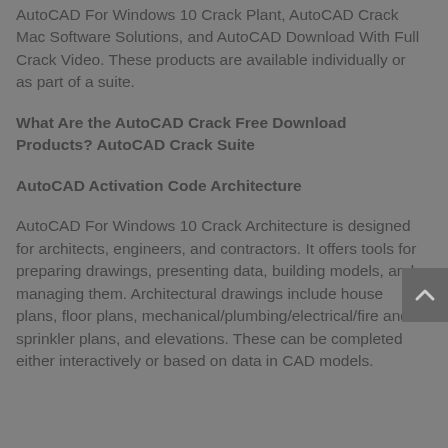AutoCAD For Windows 10 Crack Plant, AutoCAD Crack Mac Software Solutions, and AutoCAD Download With Full Crack Video. These products are available individually or as part of a suite.
What Are the AutoCAD Crack Free Download Products? AutoCAD Crack Suite
AutoCAD Activation Code Architecture
AutoCAD For Windows 10 Crack Architecture is designed for architects, engineers, and contractors. It offers tools for preparing drawings, presenting data, building models, and managing them. Architectural drawings include house plans, floor plans, mechanical/plumbing/electrical/fire and sprinkler plans, and elevations. These can be completed either interactively or based on data in CAD models.